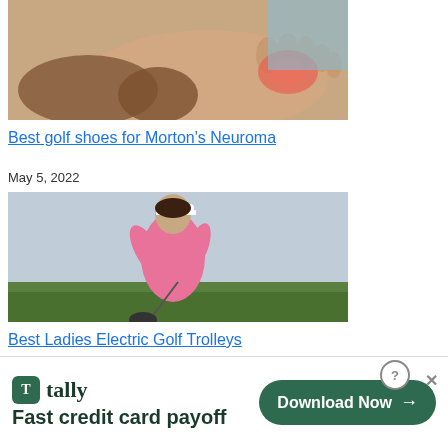[Figure (photo): Close-up photo of a person's foot/sole being held, with reddish area indicating pain near the toes]
Best golf shoes for Morton's Neuroma
May 5, 2022
[Figure (photo): Woman in pink top and white visor swinging a golf club, with green trees in background]
Best Ladies Electric Golf Trolleys
April 21, 2022
[Figure (photo): Partial view of another article image, dark toned]
[Figure (other): Tally advertisement banner: Fast credit card payoff — Download Now button]